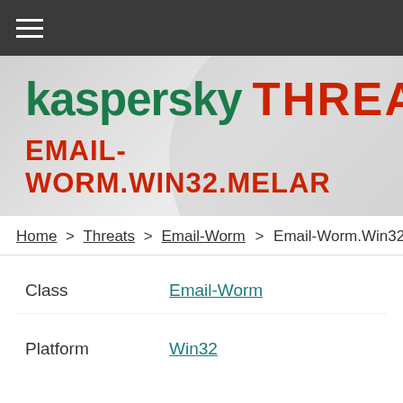Navigation bar with hamburger menu
[Figure (logo): Kaspersky Threat Intelligence logo with green 'kaspersky' and red 'THREAT' text on grey background]
EMAIL-WORM.WIN32.MELAR
Home > Threats > Email-Worm > Email-Worm.Win32.
| Field | Value |
| --- | --- |
| Class | Email-Worm |
| Platform | Win32 |